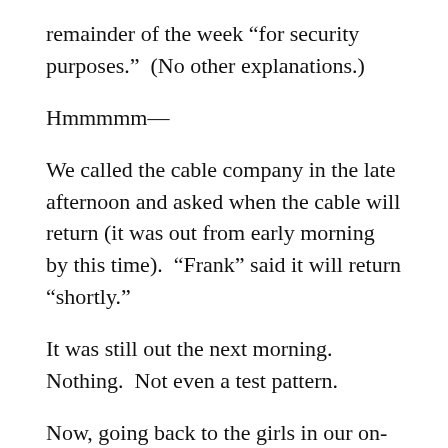remainder of the week “for security purposes.”  (No other explanations.)
Hmmmmm—
We called the cable company in the late afternoon and asked when the cable will return (it was out from early morning by this time).  “Frank” said it will return “shortly.”
It was still out the next morning.  Nothing.  Not even a test pattern.
Now, going back to the girls in our on-site management office:  We all surmise that they closed up shop for the rest of the week, ran home, and took cover under their beds because they were afraid of residents calling them to ask about the lack of cable service.